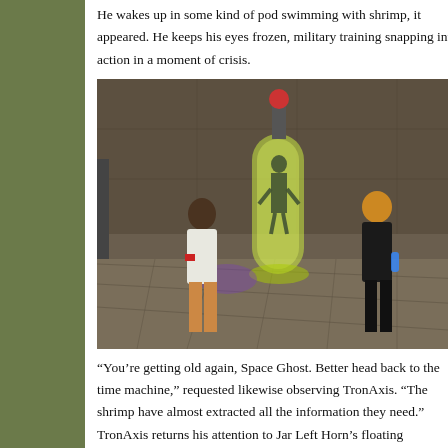He wakes up in some kind of pod swimming with shrimp, it appeared. He keeps his eyes frozen, military training snapping into action in a moment of crisis.
[Figure (screenshot): 3D game screenshot showing two characters (one in white shirt, one in black suit) standing in a stone room with a glowing yellow cylindrical pod containing a humanoid figure.]
“You’re getting old again, Space Ghost. Better head back to the time machine,” requested likewise observing TronAxis. “The shrimp have almost extracted all the information they need.” TronAxis returns his attention to Jar Left Horn’s floating
script
Tone Color Alchemy
Viral Media Blog
Virtual Sock Puppets
Virtual Veyot
Vivid Black’s Blog
Walking Art 01
Winesburg OH “Hand” blog
Wrong Way Wizard (Shining)
Local Hiking
Abnormal Realm Blog